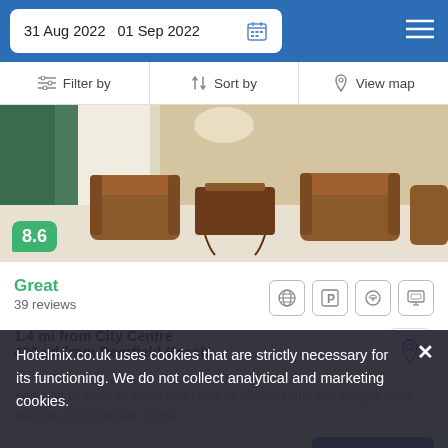31 Aug 2022  01 Sep 2022
Filter by  Sort by  View map
[Figure (photo): Hotel lobby interior with brown leather armchairs and ornate table]
8.6
Great
39 reviews
1.4 mi from City Centre
400 yd from Deerfield Beach
Adjacent to Sullivan Park, and close to Mizner Park, this budget hotel features 30 individual rooms.
from £ 92/night
SELECT
Hotelmix.co.uk uses cookies that are strictly necessary for its functioning. We do not collect analytical and marketing cookies.
Sunder Beach Resort